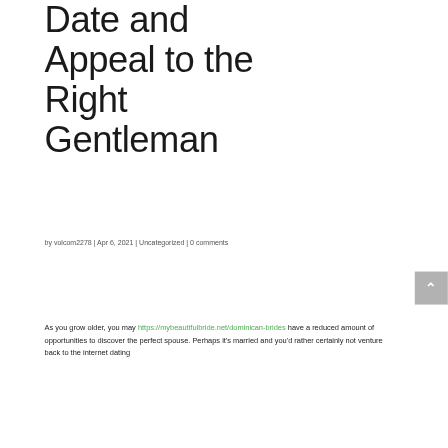Date and Appeal to the Right Gentleman
by volcom2278 | Apr 6, 2021 | Uncategorized | 0 comments
As you grow older, you may https://mybeautifulbride.net/dominican-brides have a reduced amount of opportunities to discover the perfect spouse. Perhaps it's married and you'd rather certainly not venture back to the internet dating